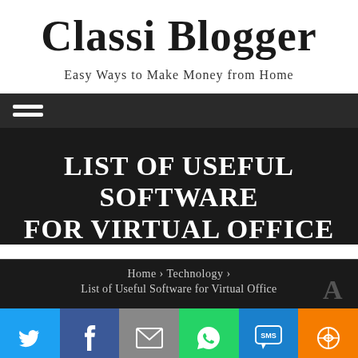Classi Blogger
Easy Ways to Make Money from Home
[Figure (other): Hamburger menu icon (three white horizontal bars) on dark navigation bar]
LIST OF USEFUL SOFTWARE FOR VIRTUAL OFFICE
Home › Technology › List of Useful Software for Virtual Office
[Figure (other): Social sharing bar with Twitter, Facebook, Email, WhatsApp, SMS, and More buttons]